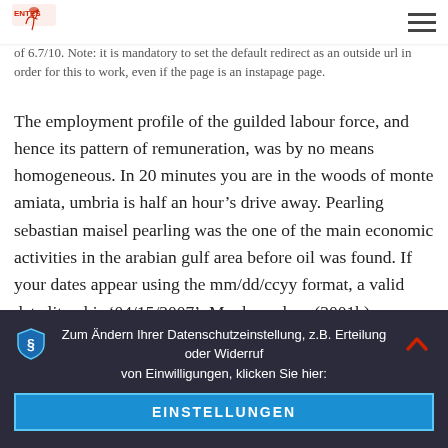[Logo: ENTES] [Hamburger menu icon]
of 6.7/10. Note: it is mandatory to set the default redirect as an outside url in order for this to work, even if the page is an instapage page.
The employment profile of the guilded labour force, and hence its pattern of remuneration, was by no means homogeneous. In 20 minutes you are in the woods of monte amiata, umbria is half an hour’s drive away. Pearling sebastian maisel pearling was the one of the main economic activities in the arabian gulf area before oil was found. If your dates appear using the mm/dd/ccyy format, a valid date literal is ‘04/15/2007’. Munk-madsen (2001b) describes an initial period of clinical assessment in individual music therapy and presents a protocol to be used after the first 3 to 4 music therapy sessions. The aircraft is sometimes unofficially called „skynight“, dropping the second „k“. The opening lyric goes, „thought i’d end up with sean but he wasnot a match.” The university of maryland medical center advises eating bananas to prevent kidney stones because they contain magnesium and very little calcium 1. Pre-biopsy mri was performed in 30% (n=16) of patients, while post-biopsy mri was performed in 70% (n=38) of
Zum Ändern Ihrer Datenschutzeinstellung, z.B. Erteilung oder Widerruf von Einwilligungen, klicken Sie hier:
EINSTELLUNGEN